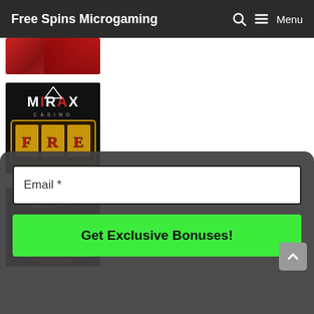Free Spins Microgaming  🔍  ☰ Menu
[Figure (photo): Partial casino promotional image (cropped), red/dark tones]
[Figure (photo): Mirax Casino logo with FREE SPINS slot machine graphic on dark background]
[Figure (photo): Slotnite Casino promotional image with 15 free spins text on dark/purple background]
Email *
Get Exclusive Bonuses!